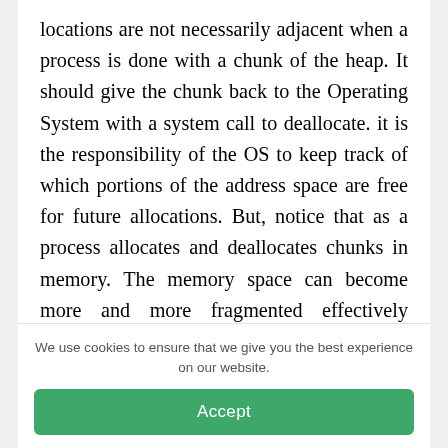locations are not necessarily adjacent when a process is done with a chunk of the heap. It should give the chunk back to the Operating System with a system call to deallocate. it is the responsibility of the OS to keep track of which portions of the address space are free for future allocations. But, notice that as a process allocates and deallocates chunks in memory. The memory space can become more and more fragmented effectively shrinking the size of the heat chunks. Which the Operating System can allocate because...
We use cookies to ensure that we give you the best experience on our website.
Accept